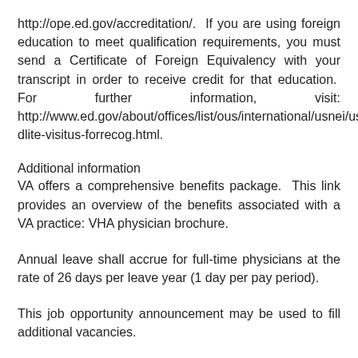http://ope.ed.gov/accreditation/. If you are using foreign education to meet qualification requirements, you must send a Certificate of Foreign Equivalency with your transcript in order to receive credit for that education. For further information, visit: http://www.ed.gov/about/offices/list/ous/international/usnei/us/edlite-visitus-forrecog.html.
Additional information
VA offers a comprehensive benefits package. This link provides an overview of the benefits associated with a VA practice: VHA physician brochure.
Annual leave shall accrue for full-time physicians at the rate of 26 days per leave year (1 day per pay period).
This job opportunity announcement may be used to fill additional vacancies.